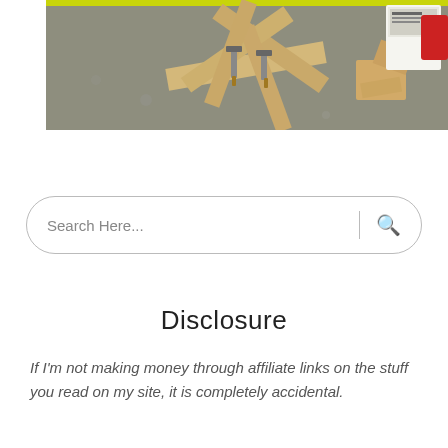[Figure (photo): Workshop photo showing wooden pieces clamped together with bar clamps on a concrete floor, with woodworking materials and a box in the background.]
[Figure (screenshot): Search bar with placeholder text 'Search Here...' and a search icon on the right.]
Disclosure
If I'm not making money through affiliate links on the stuff you read on my site, it is completely accidental.